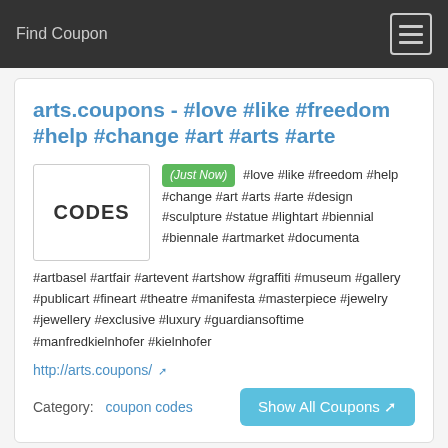Find Coupon
arts.coupons - #love #like #freedom #help #change #art #arts #arte
(Just Now) #love #like #freedom #help #change #art #arts #arte #design #sculpture #statue #lightart #biennial #biennale #artmarket #documenta #artbasel #artfair #artevent #artshow #graffiti #museum #gallery #publicart #fineart #theatre #manifesta #masterpiece #jewelry #jewellery #exclusive #luxury #guardiansoftime #manfredkielnhofer #kielnhofer
http://arts.coupons/
Category: coupon codes
Music and Arts Coupons (40%